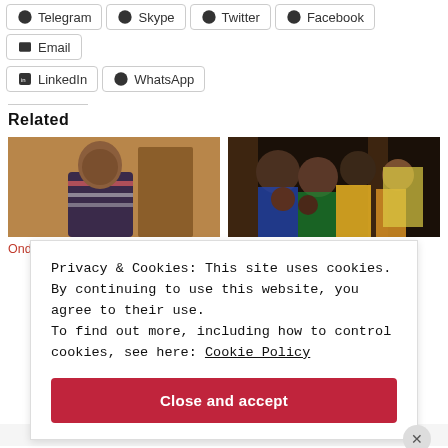Telegram
Skype
Twitter
Facebook
Email
LinkedIn
WhatsApp
Related
[Figure (photo): Man standing indoors, wearing a striped polo shirt]
Ondo Police arrest man for
[Figure (photo): Group of women and children seated, dressed in colorful clothes]
Ondo Church Saga: Drama
Privacy & Cookies: This site uses cookies. By continuing to use this website, you agree to their use.
To find out more, including how to control cookies, see here: Cookie Policy
Close and accept
Advertisements